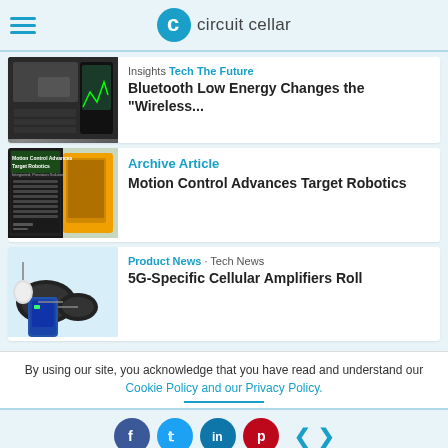circuit cellar
[Figure (screenshot): Article card image: hands using car dashboard with smartphone showing waveform]
Insights · Tech The Future
Bluetooth Low Energy Changes the "Wireless...
[Figure (screenshot): Article card image: Motion Control Advances Target Robotics magazine cover with robotic arms]
Archive Article
Motion Control Advances Target Robotics
[Figure (photo): Article card image: 5G cellular amplifier device with cables]
Product News · Tech News
5G-Specific Cellular Amplifiers Roll
By using our site, you acknowledge that you have read and understand our Cookie Policy and our Privacy Policy.
Social share buttons: Facebook, Twitter, LinkedIn, Pinterest, navigation arrows